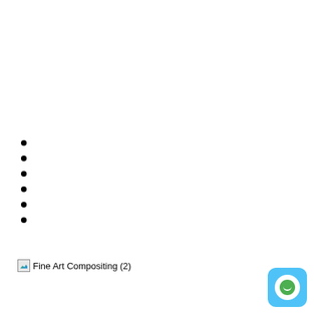[Figure (illustration): Broken image placeholder labeled 'Fine Art Compositing (2)']
[Figure (illustration): Chat widget button in bottom-right corner with light blue rounded square background and green smiley face icon]